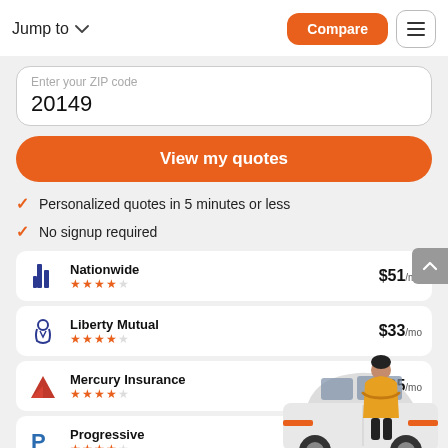Jump to
Compare
Enter your ZIP code
20149
View my quotes
Personalized quotes in 5 minutes or less
No signup required
| Company | Rating | Price |
| --- | --- | --- |
| Nationwide | 4 stars | $51/mo |
| Liberty Mutual | 4 stars | $33/mo |
| Mercury Insurance | 4 stars | $65/mo |
| Progressive | 4 stars |  |
[Figure (illustration): Illustration of a person in a yellow hoodie standing in front of a white SUV car]